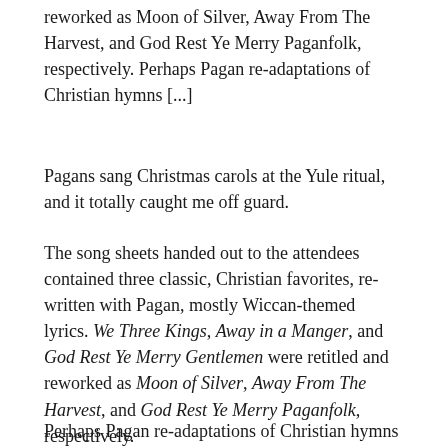reworked as Moon of Silver, Away From The Harvest, and God Rest Ye Merry Paganfolk, respectively. Perhaps Pagan re-adaptations of Christian hymns [...]
Pagans sang Christmas carols at the Yule ritual, and it totally caught me off guard.
The song sheets handed out to the attendees contained three classic, Christian favorites, re-written with Pagan, mostly Wiccan-themed lyrics. We Three Kings, Away in a Manger, and God Rest Ye Merry Gentlemen were retitled and reworked as Moon of Silver, Away From The Harvest, and God Rest Ye Merry Paganfolk, respectively.
Perhaps Pagan re-adaptations of Christian hymns